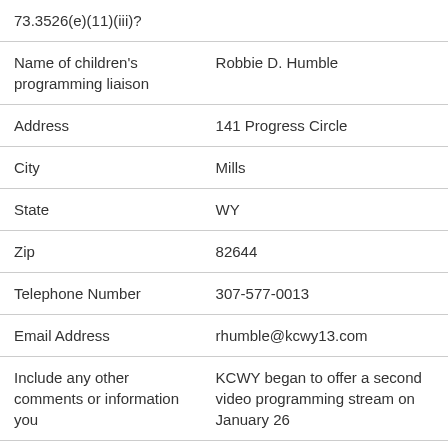| 73.3526(e)(11)(iii)? |  |
| Name of children's programming liaison | Robbie D. Humble |
| Address | 141 Progress Circle |
| City | Mills |
| State | WY |
| Zip | 82644 |
| Telephone Number | 307-577-0013 |
| Email Address | rhumble@kcwy13.com |
| Include any other comments or information you | KCWY began to offer a second video programming stream on January 26 |